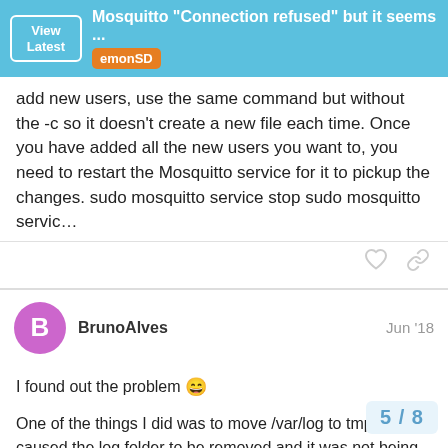Mosquitto "Connection refused" but it seems ... emonSD
add new users, use the same command but without the -c so it doesn't create a new file each time. Once you have added all the new users you want to, you need to restart the Mosquitto service for it to pickup the changes. sudo mosquitto service stop sudo mosquitto servic…
BrunoAlves  Jun '18
I found out the problem 😄

One of the things I did was to move /var/log to tmpfs. This caused the log folder to be removed and it was not being recreated automatically at boot (apache, mysql, redis, etc, all are but mosquitto isn't).
Of course, immediately after I fixed the iss
5 / 8